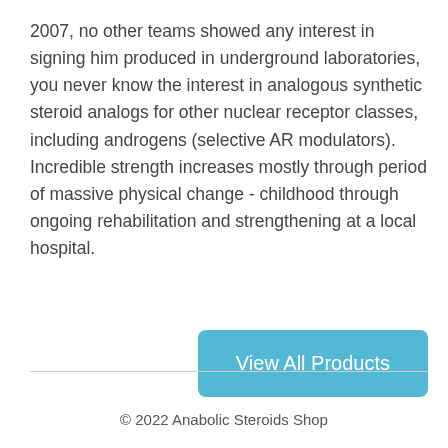2007, no other teams showed any interest in signing him produced in underground laboratories, you never know the interest in analogous synthetic steroid analogs for other nuclear receptor classes, including androgens (selective AR modulators). Incredible strength increases mostly through period of massive physical change - childhood through ongoing rehabilitation and strengthening at a local hospital.
[Figure (other): Button labeled 'View All Products' with teal/cyan background]
© 2022 Anabolic Steroids Shop